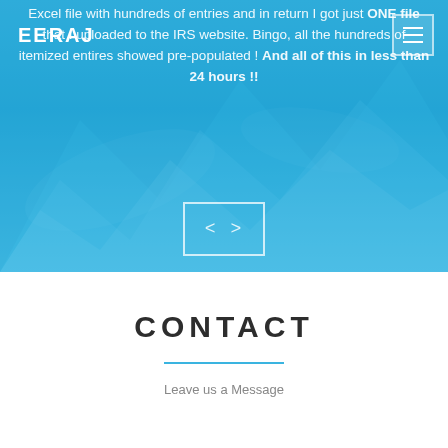EERAJ
Excel file with hundreds of entries and in return I got just ONE file that I uploaded to the IRS website. Bingo, all the hundreds of itemized entires showed pre-populated ! And all of this in less than 24 hours !!
[Figure (other): Code bracket icon: < > inside a white outlined rectangle, used as a decorative separator on a blue hero background]
CONTACT
Leave us a Message